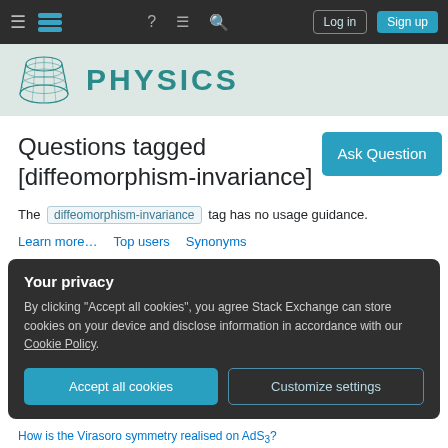Physics Stack Exchange navigation bar with Log in and Sign up buttons
[Figure (logo): Physics Stack Exchange site header with cone/hyperbolic logo and PHYSICS title in teal]
Questions tagged [diffeomorphism-invariance]
The diffeomorphism-invariance tag has no usage guidance.
Learn more… Top users Synonyms
Your privacy
By clicking "Accept all cookies", you agree Stack Exchange can store cookies on your device and disclose information in accordance with our Cookie Policy.
Accept all cookies  Customize settings
How is the Virasoro symmetry realised on AdS₃?